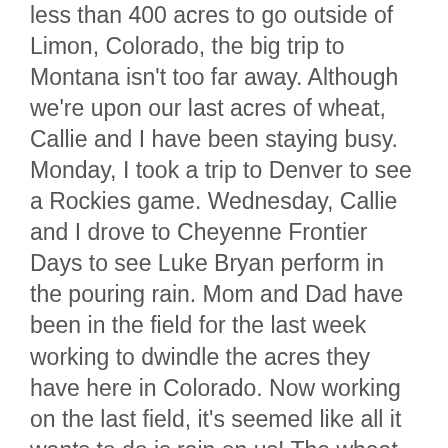less than 400 acres to go outside of Limon, Colorado, the big trip to Montana isn't too far away. Although we're upon our last acres of wheat, Callie and I have been staying busy. Monday, I took a trip to Denver to see a Rockies game. Wednesday, Callie and I drove to Cheyenne Frontier Days to see Luke Bryan perform in the pouring rain. Mom and Dad have been in the field for the last week working to dwindle the acres they have here in Colorado. Now working on the last field, it's seemed like all it wants to do is rain on us! The wheat has had a good test weight with over 60 pounds, yields from 10 to 30 and about a 20 bushel average. We hope to wrap up here over this week. Out next stop on the map is Denton, Montana to cut winter wheat. Callie, who starts school August 15th, and I are looking at heading back to Nebraska